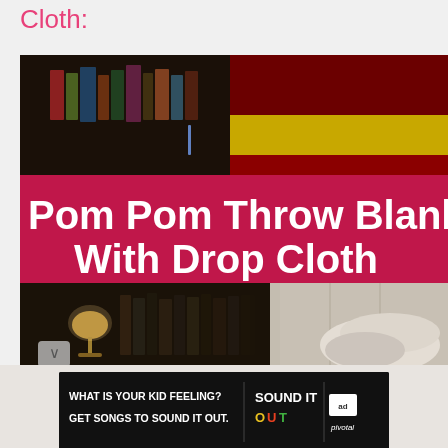Cloth:
[Figure (photo): A room scene showing a bookshelf with books at the top, a magenta/pink banner overlay reading 'Pom Pom Throw Blanket With Drop Cloth', and the lower portion shows a lamp, bookshelf with books, and a white/cream pillow or blanket draped over furniture. A downward chevron scroll indicator appears at bottom left.]
[Figure (photo): Advertisement banner with black background. Left side reads 'WHAT IS YOUR KID FEELING? GET SONGS TO SOUND IT OUT.' in white bold text. Right side shows 'SOUND IT OUT' logo in colorful text, an 'ad council' logo box, and 'pivotal' text.]